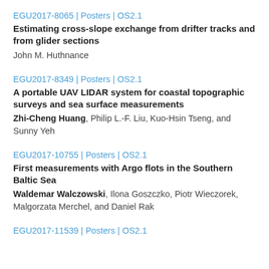EGU2017-8065 | Posters | OS2.1
Estimating cross-slope exchange from drifter tracks and from glider sections
John M. Huthnance
EGU2017-8349 | Posters | OS2.1
A portable UAV LIDAR system for coastal topographic surveys and sea surface measurements
Zhi-Cheng Huang, Philip L.-F. Liu, Kuo-Hsin Tseng, and Sunny Yeh
EGU2017-10755 | Posters | OS2.1
First measurements with Argo flots in the Southern Baltic Sea
Waldemar Walczowski, Ilona Goszczko, Piotr Wieczorek, Malgorzata Merchel, and Daniel Rak
EGU2017-11539 | Posters | OS2.1